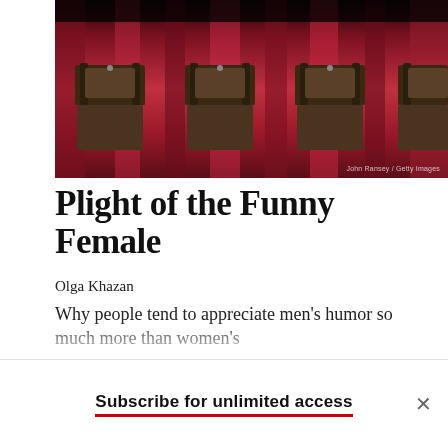[Figure (photo): Theater seats/chairs with red curtain backdrop, viewed from the front]
Plight of the Funny Female
Olga Khazan
Why people tend to appreciate men's humor so much more than women's
A few years ago, Laura Mickes was teaching her regular undergraduate class on childhood psychological disorders at
Subscribe for unlimited access